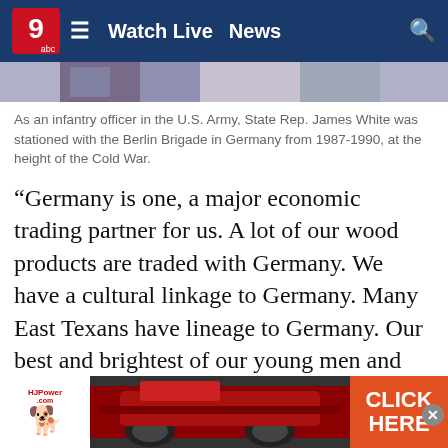Watch Live  News
[Figure (photo): Partial photograph showing a person in military or formal attire, cropped at top]
As an infantry officer in the U.S. Army, State Rep. James White was stationed with the Berlin Brigade in Germany from 1987-1990, at the height of the Cold War.
“Germany is one, a major economic trading partner for us. A lot of our wood products are traded with Germany. We have a cultural linkage to Germany. Many East Texans have lineage to Germany. Our best and brightest of our young men and women eventually end up serving in Germany. It is a major ally for the United States. And you know sometimes allies disagree. That’s okay. I was supportive of President Trump looking at, not necessarily severing our ties with Germany, absolutely not. Geographically they’re at a very critical location, a very strategi... in differe... orld, we do... our...
[Figure (screenshot): Advertisement banner: HJPower.com logo with dog, red machinery photo, orange CLICK HERE button, and close (x) button]